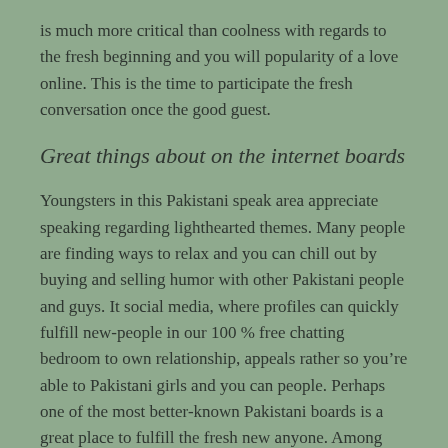is much more critical than coolness with regards to the fresh beginning and you will popularity of a love online. This is the time to participate the fresh conversation once the good guest.
Great things about on the internet boards
Youngsters in this Pakistani speak area appreciate speaking regarding lighthearted themes. Many people are finding ways to relax and you can chill out by buying and selling humor with other Pakistani people and guys. It social media, where profiles can quickly fulfill new-people in our 100 % free chatting bedroom to own relationship, appeals rather so you’re able to Pakistani girls and you can people. Perhaps one of the most better-known Pakistani boards is a great place to fulfill the fresh new anyone. Among Pakistan’s oldest online forums, ours is additionally one of the best. Pakistani